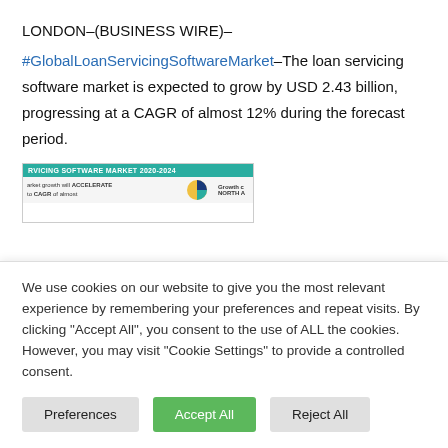LONDON–(BUSINESS WIRE)–
#GlobalLoanServicingSoftwareMarket–The loan servicing software market is expected to grow by USD 2.43 billion, progressing at a CAGR of almost 12% during the forecast period.
[Figure (screenshot): Partial screenshot of a report titled 'VICING SOFTWARE MARKET 2020-2024' with a teal header bar. Below shows text about market growth ACCELERATING to a CAGR of almost... and NORTH A... with a partial pie chart.]
We use cookies on our website to give you the most relevant experience by remembering your preferences and repeat visits. By clicking “Accept All”, you consent to the use of ALL the cookies. However, you may visit "Cookie Settings" to provide a controlled consent.